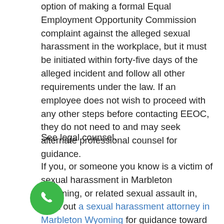option of making a formal Equal Employment Opportunity Commission complaint against the alleged sexual harassment in the workplace, but it must be initiated within forty-five days of the alleged incident and follow all other requirements under the law. If an employee does not wish to proceed with any other steps before contacting EEOC, they do not need to and may seek alternate professional counsel for guidance.
See legal counsel.
If you, or someone you know is a victim of sexual harassment in Marbleton Wyoming, or related sexual assault in, seek out a sexual harassment attorney in Marbleton Wyoming for guidance toward legal actions will remedy the situation.
[Figure (illustration): Green circular phone/call button icon with white phone handset symbol]